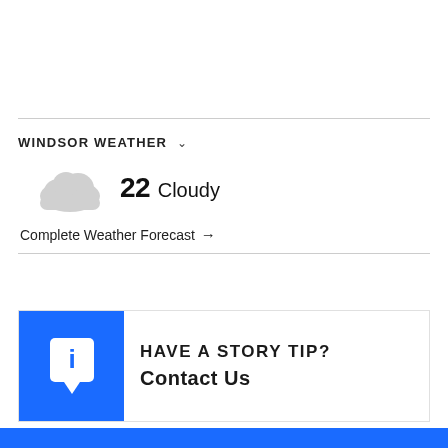WINDSOR WEATHER
[Figure (illustration): Cloud icon representing cloudy weather]
22 Cloudy
Complete Weather Forecast →
[Figure (infographic): Blue banner with white info/tip icon on left side]
HAVE A STORY TIP? Contact Us